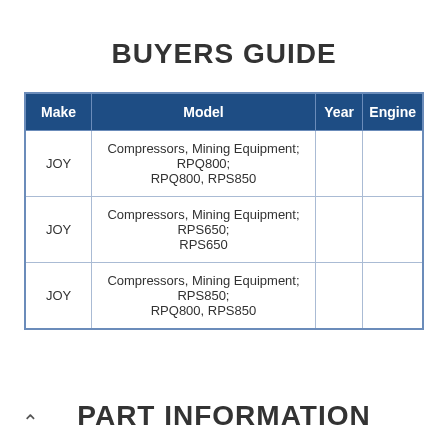BUYERS GUIDE
| Make | Model | Year | Engine |
| --- | --- | --- | --- |
| JOY | Compressors, Mining Equipment; RPQ800; RPQ800, RPS850 |  |  |
| JOY | Compressors, Mining Equipment; RPS650; RPS650 |  |  |
| JOY | Compressors, Mining Equipment; RPS850; RPQ800, RPS850 |  |  |
PART INFORMATION